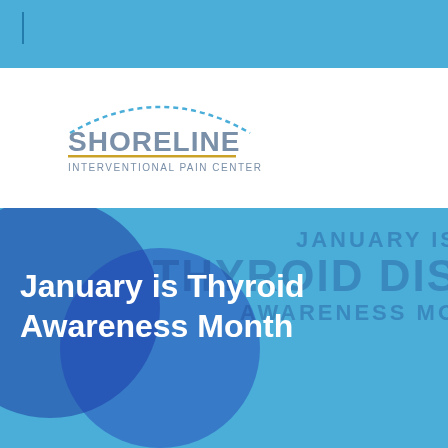[Figure (logo): Shoreline Interventional Pain Center logo with arc of dashes above the text]
January is Thyroid Awareness Month